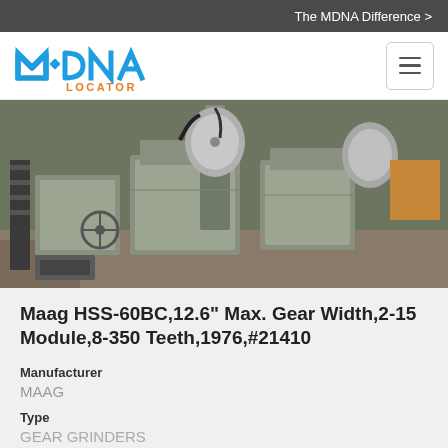The MDNA Difference >
[Figure (logo): MDNA LOCATOR logo in blue and orange]
[Figure (photo): Industrial gear grinding machine (Maag HSS-60BC), olive-green colored, in a factory setting]
Maag HSS-60BC,12.6" Max. Gear Width,2-15 Module,8-350 Teeth,1976,#21410
Manufacturer
MAAG
Type
GEAR GRINDERS